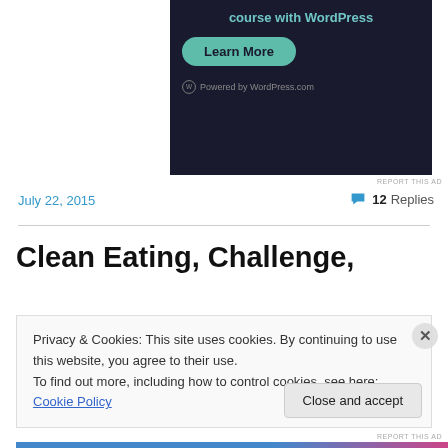[Figure (screenshot): Dark-themed WordPress ad banner showing 'course with WordPress' text, a teal 'Learn More' button, and 'Powered by WordPress.com' at the bottom]
REPORT THIS AD
July 22, 2015
💬 12 Replies
Clean Eating, Challenge,
Privacy & Cookies: This site uses cookies. By continuing to use this website, you agree to their use.
To find out more, including how to control cookies, see here: Cookie Policy
Close and accept